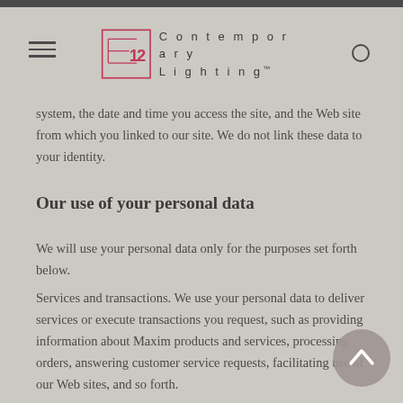[Figure (logo): E12 Contemporary Lighting logo with navigation bar, hamburger menu and search icon]
system, the date and time you access the site, and the Web site from which you linked to our site. We do not link these data to your identity.
Our use of your personal data
We will use your personal data only for the purposes set forth below.
Services and transactions. We use your personal data to deliver services or execute transactions you request, such as providing information about Maxim products and services, processing orders, answering customer service requests, facilitating use of our Web sites, and so forth.